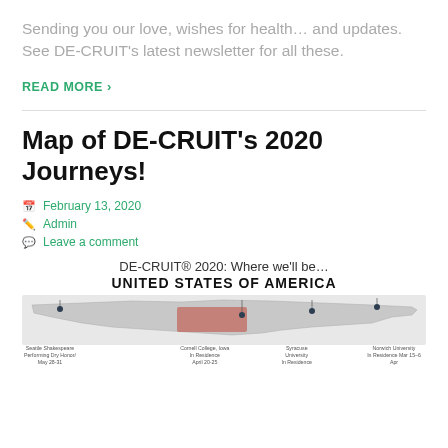Sending you our love, wishes for health… and updates. See DE-CRUIT's latest newsletter for all these.
READ MORE  >
Map of DE-CRUIT's 2020 Journeys!
February 13, 2020
Admin
Leave a comment
[Figure (map): DE-CRUIT 2020 map of US locations including Seattle Shakespeare Performing Dry Honor May 28-31, Cornell College Iowa In Residence April 20-25, Syracuse University In Residence, and Norwich University In Residence Mar 15-6 Apr]